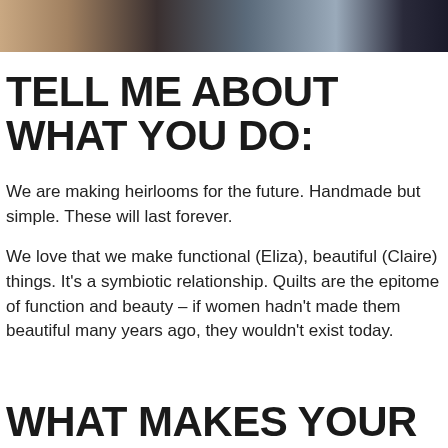[Figure (photo): Partial photo strip at top of page showing people, partially cropped]
TELL ME ABOUT WHAT YOU DO:
We are making heirlooms for the future. Handmade but simple. These will last forever.
We love that we make functional (Eliza), beautiful (Claire) things. It’s a symbiotic relationship. Quilts are the epitome of function and beauty – if women hadn’t made them beautiful many years ago, they wouldn’t exist today.
WHAT MAKES YOUR QUILTS